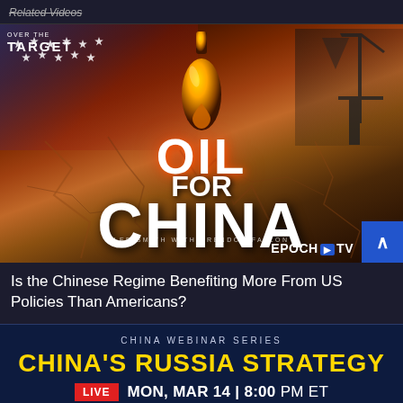Related Videos
[Figure (screenshot): Thumbnail image for 'Oil for China' video on Epoch TV. Shows dramatic background with American flag stars, cracked earth in orange/red tones, oil drop/bottle in center, text 'OIL FOR CHINA' in large white letters, 'Over the Target' logo top-left, 'Lee Smith with Brendon Fallon' byline, and 'Epoch TV' logo bottom-right.]
Is the Chinese Regime Benefiting More From US Policies Than Americans?
[Figure (infographic): Dark blue promotional banner for China Webinar Series. Text reads 'CHINA WEBINAR SERIES' at top, then 'CHINA'S RUSSIA STRATEGY' in large gold bold letters, then 'LIVE MON, MAR 14 | 8:00 PM ET' with LIVE in red badge.]
CHINA WEBINAR SERIES
CHINA'S RUSSIA STRATEGY
LIVE MON, MAR 14 | 8:00 PM ET